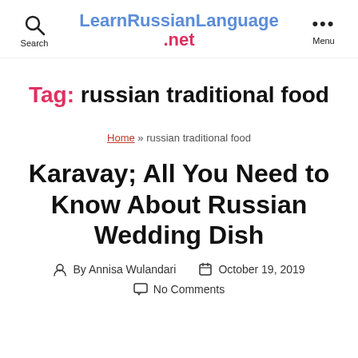LearnRussianLanguage.net
Tag: russian traditional food
Home » russian traditional food
Karavay; All You Need to Know About Russian Wedding Dish
By Annisa Wulandari  October 19, 2019
No Comments